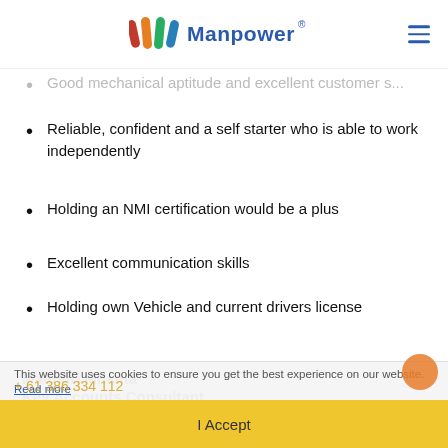Manpower
Good mechanical aptitude and excellent customer s…
Reliable, confident and a self starter who is able to work independently
Holding an NMI certification would be a plus
Excellent communication skills
Holding own Vehicle and current drivers license
Madhuri Mhanta
Key Accounts Consultant
Let's Connect
https://www.linkedin.com/in/madhuri-mhanta-
This website uses cookies to ensure you get the best experience on our website. Read more
+ 61 386 334 112
I Accept